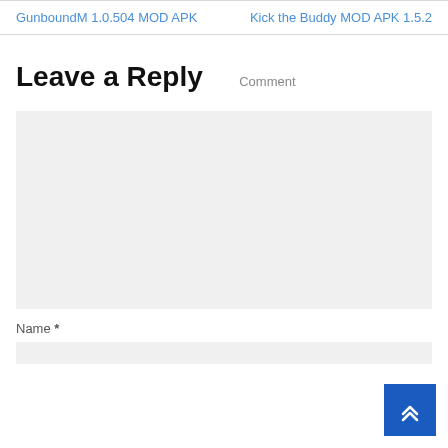GunboundM 1.0.504 MOD APK    Kick the Buddy MOD APK 1.5.2
Leave a Reply
Comment
[Figure (other): Comment text input area (empty gray rectangle)]
Name *
[Figure (other): Name input field (gray rectangle)]
[Figure (other): Scroll to top button (blue square with upward chevron arrows)]